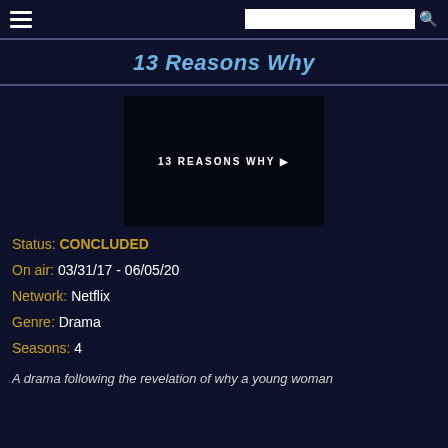13 Reasons Why
[Figure (screenshot): Show logo image: dark background with text '13 REASONS WHY' and a play button triangle]
Status: CONCLUDED
On air: 03/31/17 - 06/05/20
Network: Netflix
Genre: Drama
Seasons: 4
A drama following the revelation of why a young woman